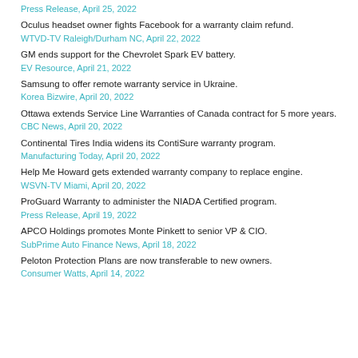Press Release, April 25, 2022
Oculus headset owner fights Facebook for a warranty claim refund.
WTVD-TV Raleigh/Durham NC, April 22, 2022
GM ends support for the Chevrolet Spark EV battery.
EV Resource, April 21, 2022
Samsung to offer remote warranty service in Ukraine.
Korea Bizwire, April 20, 2022
Ottawa extends Service Line Warranties of Canada contract for 5 more years.
CBC News, April 20, 2022
Continental Tires India widens its ContiSure warranty program.
Manufacturing Today, April 20, 2022
Help Me Howard gets extended warranty company to replace engine.
WSVN-TV Miami, April 20, 2022
ProGuard Warranty to administer the NIADA Certified program.
Press Release, April 19, 2022
APCO Holdings promotes Monte Pinkett to senior VP & CIO.
SubPrime Auto Finance News, April 18, 2022
Peloton Protection Plans are now transferable to new owners.
Consumer Watts, April 14, 2022